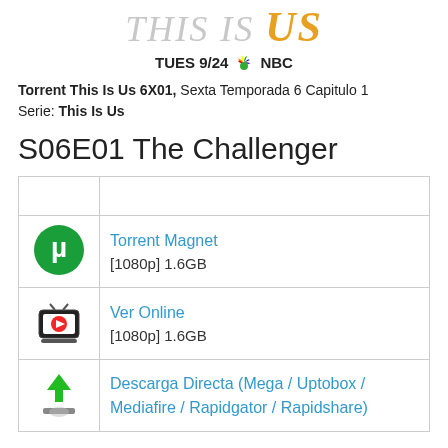[Figure (logo): This Is Us TV show logo with 'THIS IS US' stylized text and 'TUES 9/24 NBC' with NBC peacock logo]
Torrent This Is Us 6X01, Sexta Temporada 6 Capitulo 1
Serie: This Is Us
S06E01 The Challenger
|  |  |
| --- | --- |
| [icon: utorrent] | Torrent Magnet
[1080p] 1.6GB |
| [icon: tv/online] | Ver Online
[1080p] 1.6GB |
| [icon: download] | Descarga Directa (Mega / Uptobox / Mediafire / Rapidgator / Rapidshare) |